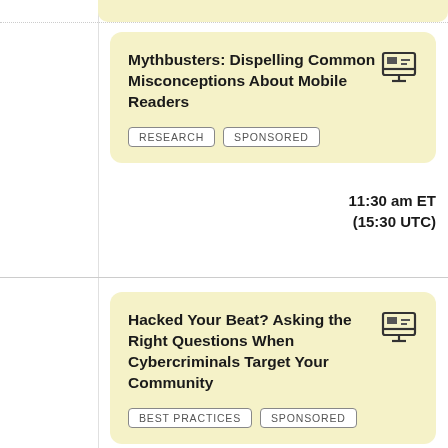Mythbusters: Dispelling Common Misconceptions About Mobile Readers
RESEARCH   SPONSORED
11:30 am ET (15:30 UTC)
Hacked Your Beat? Asking the Right Questions When Cybercriminals Target Your Community
BEST PRACTICES   SPONSORED